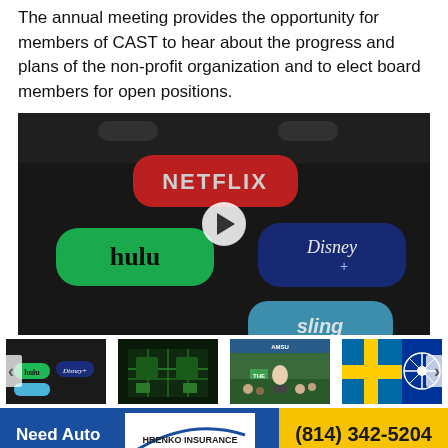The annual meeting provides the opportunity for members of CAST to hear about the progress and plans of the non-profit organization and to elect board members for open positions.
[Figure (screenshot): A TV remote control with streaming service buttons: Netflix (red), Hulu (green), Disney+ (dark blue), Sling (light blue). A white play button triangle is overlaid in the center, indicating a video player.]
[Figure (photo): Thumbnail row of 4 images: (1) Streaming remote buttons close-up, (2) Green circuit board / semiconductor chips, (3) Biden speaking at a rally with crowd, (4) Swedish flag and NATO logo.]
[Figure (infographic): Advertisement banner: 'Need Auto' on blue background, Hrenko Insurance logo with swoosh, phone number (814) 342-5204 on yellow background.]